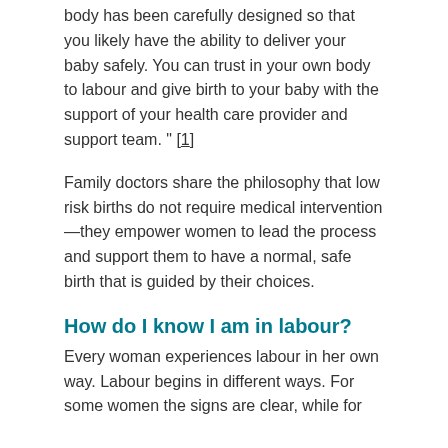body has been carefully designed so that you likely have the ability to deliver your baby safely. You can trust in your own body to labour and give birth to your baby with the support of your health care provider and support team. " [1]
Family doctors share the philosophy that low risk births do not require medical intervention—they empower women to lead the process and support them to have a normal, safe birth that is guided by their choices.
How do I know I am in labour?
Every woman experiences labour in her own way. Labour begins in different ways. For some women the signs are clear, while for